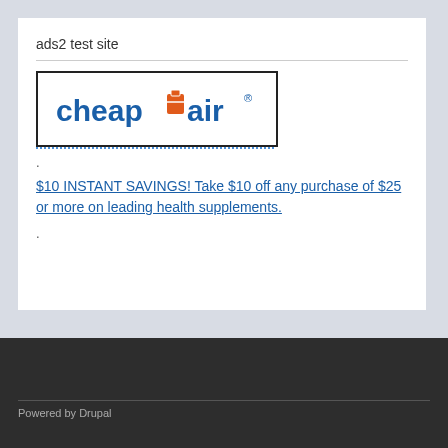ads2 test site
[Figure (logo): CheapOair logo with orange suitcase icon between 'cheap' and 'air' text]
.
$10 INSTANT SAVINGS! Take $10 off any purchase of $25 or more on leading health supplements.
.
Powered by Drupal